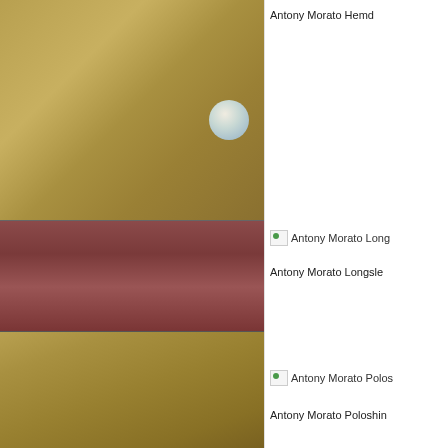[Figure (photo): Close-up photo of leather or fabric texture in golden/olive brown color with a section of dark reddish-brown material in the middle]
Antony Morato Hemd
[Figure (photo): Broken/missing image placeholder for Antony Morato Longsleeve product]
Antony Morato Longsle
[Figure (photo): Broken/missing image placeholder for Antony Morato Poloshirt product]
Antony Morato Poloshin